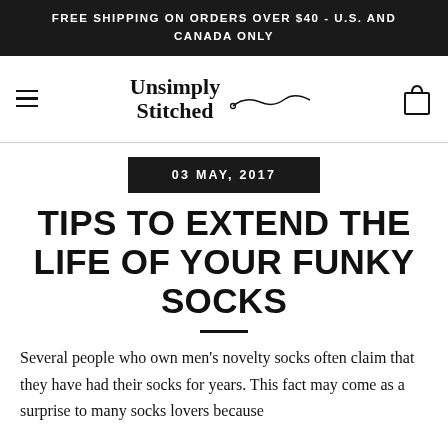FREE SHIPPING ON ORDERS OVER $40 - U.S. AND CANADA ONLY
[Figure (logo): Unsimply Stitched logo with needle and thread graphic, hamburger menu icon on left, shopping bag icon on right]
03 MAY, 2017
TIPS TO EXTEND THE LIFE OF YOUR FUNKY SOCKS
Several people who own men's novelty socks often claim that they have had their socks for years. This fact may come as a surprise to many socks lovers because